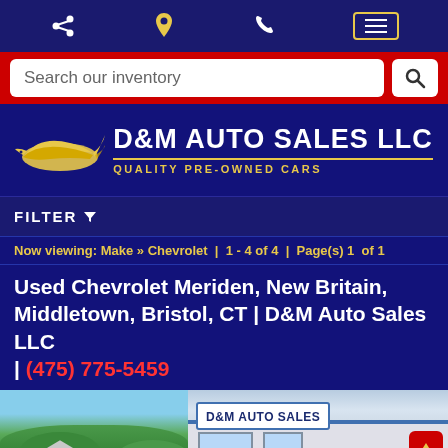Navigation bar with share, location, phone, and menu icons
Search our inventory
[Figure (logo): D&M Auto Sales LLC logo with yellow bird/car silhouette graphic and text 'D&M AUTO SALES LLC - QUALITY PRE-OWNED CARS']
FILTER
Now viewing: Make » Chevrolet | 1 - 4 of 4 | Page(s) 1 of 1
Used Chevrolet Meriden, New Britain, Middletown, Bristol, CT | D&M Auto Sales LLC | (475) 775-5459
[Figure (photo): Split image: left side shows trees and a house, right side shows D&M Auto Sales dealership building with sign reading 'D&M AUTO SALES']